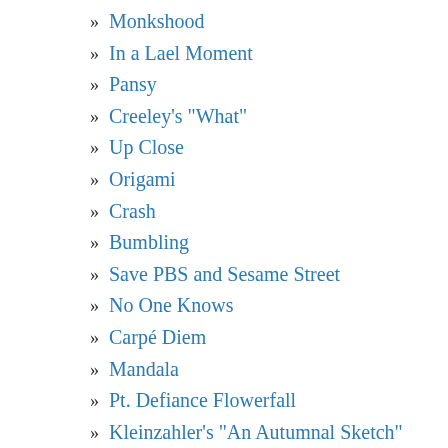» Monkshood
» In a Lael Moment
» Pansy
» Creeley's "What"
» Up Close
» Origami
» Crash
» Bumbling
» Save PBS and Sesame Street
» No One Knows
» Carpé Diem
» Mandala
» Pt. Defiance Flowerfall
» Kleinzahler's "An Autumnal Sketch"
» Sensual
» Hoover's "Poems We Can